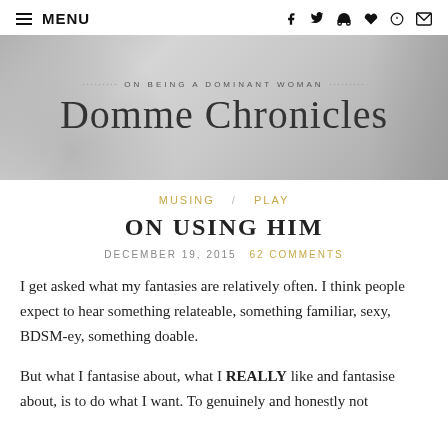≡ MENU
[Figure (illustration): Banner image for Domme Chronicles blog. Gray-toned background with text 'ON BEING A DOMINANT WOMAN' and 'Domme Chronicles' in large serif font.]
MUSING / PLAY
ON USING HIM
DECEMBER 19, 2015  62 COMMENTS
I get asked what my fantasies are relatively often. I think people expect to hear something relateable, something familiar, sexy, BDSM-ey, something doable.
But what I fantasise about, what I REALLY like and fantasise about, is to do what I want. To genuinely and honestly not